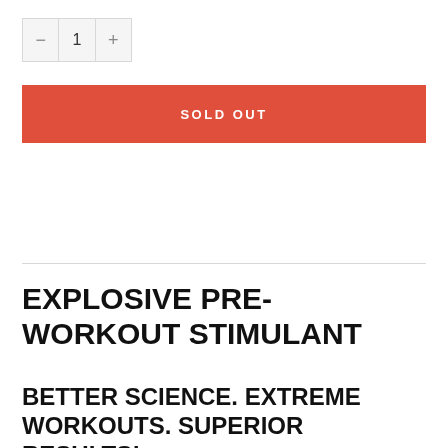[Figure (other): Quantity selector UI with minus button, quantity value '1', and plus button]
SOLD OUT
EXPLOSIVE PRE-WORKOUT STIMULANT
BETTER SCIENCE. EXTREME WORKOUTS. SUPERIOR RESULTS!